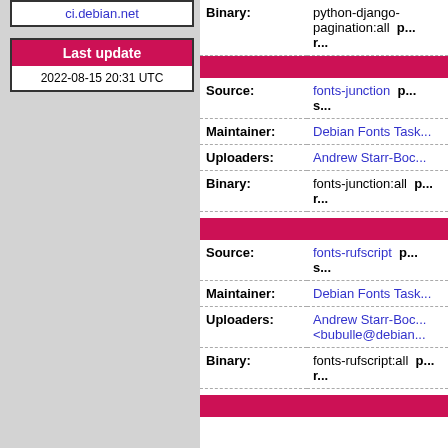ci.debian.net
| Last update |
| 2022-08-15 20:31 UTC |
| Field | Value |
| --- | --- |
| Binary: | python-django-pagination:all |
| Source: | fonts-junction |
| Maintainer: | Debian Fonts Task... |
| Uploaders: | Andrew Starr-Boc... |
| Binary: | fonts-junction:all |
| Source: | fonts-rufscript |
| Maintainer: | Debian Fonts Task... |
| Uploaders: | Andrew Starr-Boc... <bubulle@debian... |
| Binary: | fonts-rufscript:all |